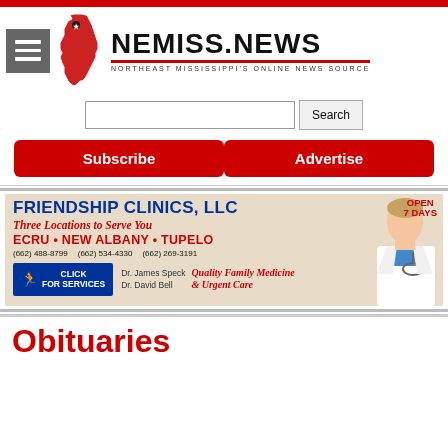NEMISS.NEWS — NORTHEAST MISSISSIPPI'S ONLINE NEWS SOURCE
[Figure (screenshot): Search input box with Search button]
[Figure (screenshot): Subscribe and Advertise red CTA buttons]
[Figure (illustration): Friendship Clinics LLC advertisement banner — Three Locations to Serve You — ECRU, NEW ALBANY, TUPELO — Quality Family Medicine & Urgent Care — Dr. James Speck, Dr. David Bell — Open 7 Days]
Obituaries